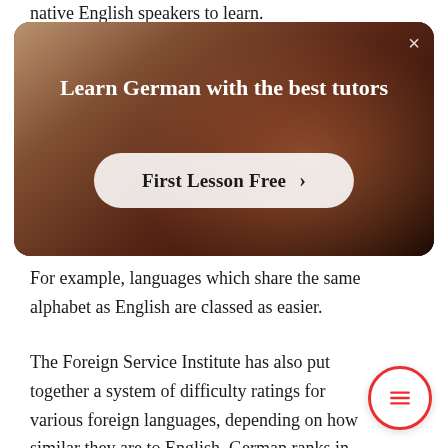native English speakers to learn.
[Figure (screenshot): Advertisement overlay with dark background showing a person, title 'Learn German with the best tutors', a 'First Lesson Free >' button, and a close (×) button.]
For example, languages which share the same alphabet as English are classed as easier.
The Foreign Service Institute has also put together a system of difficulty ratings for various foreign languages, depending on how similar they are to English. German ranks in category 2 with an estimated 30 weeks (750 hours) needed to g... basic fluency, behind languages such as French